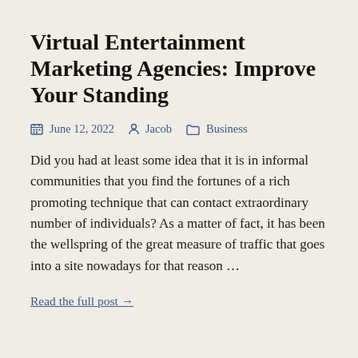Virtual Entertainment Marketing Agencies: Improve Your Standing
June 12, 2022   Jacob   Business
Did you had at least some idea that it is in informal communities that you find the fortunes of a rich promoting technique that can contact extraordinary number of individuals? As a matter of fact, it has been the wellspring of the great measure of traffic that goes into a site nowadays for that reason …
Read the full post →